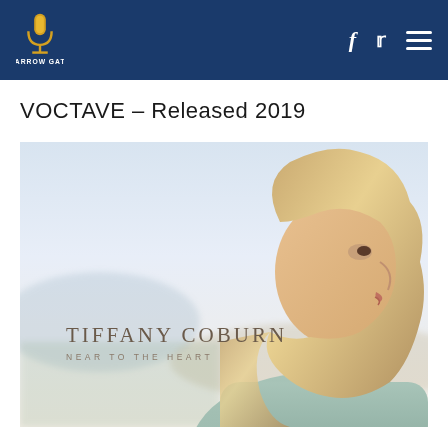Narrow Gate Entertainment — navigation with Facebook, Twitter icons and menu
VOCTAVE – Released 2019
[Figure (photo): Album cover photo for Tiffany Coburn 'Near to the Heart'. A woman with blonde wavy hair seen in profile, looking to the right, against a soft light blue/lavender sky background. Text overlay reads: TIFFANY COBURN / NEAR TO THE HEART]